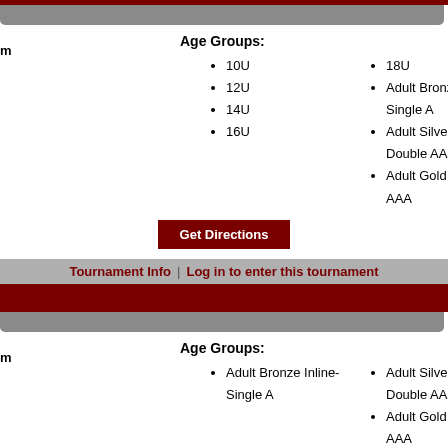Age Groups:
10U
12U
14U
16U
18U
Adult Bronze Inline-Single A
Adult Silver Inline-Double AA
Adult Gold Inline-Triple AAA
Get Directions
Tournament Info | Log in to enter this tournament
Age Groups:
Adult Bronze Inline-Single A
Adult Silver Inline-Double AA
Adult Gold Inline-Triple AAA
Get Directions
Tournament Info | Log in to enter this tournament